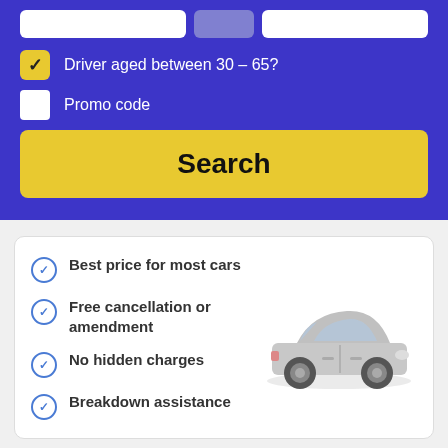Driver aged between 30 – 65?
Promo code
Search
Best price for most cars
Free cancellation or amendment
No hidden charges
Breakdown assistance
[Figure (logo): Car rental brand logos: Alamo, Hertz, National]